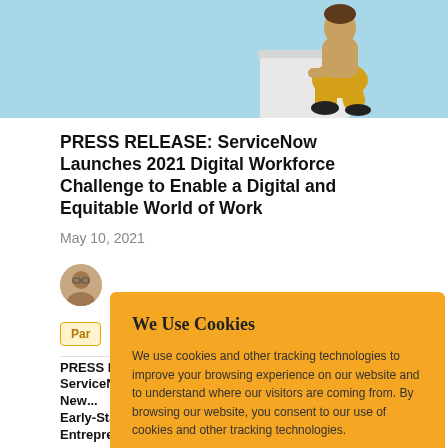[Figure (photo): Person sitting cross-legged on a white box, wearing yellow pants and dark shoes, against a light blue background.]
PRESS RELEASE: ServiceNow Launches 2021 Digital Workforce Challenge to Enable a Digital and Equitable World of Work
May 10, 2021
[Figure (photo): Circular author avatar photo of a woman with glasses.]
Par
PRESS RELEASE: ServiceNow Launches New... Early-Stage Social Entrepreneurs
We Use Cookies
We use cookies and other tracking technologies to improve your browsing experience on our website and to understand where our visitors are coming from. By browsing our website, you consent to our use of cookies and other tracking technologies.
ACCEPT
REJECT